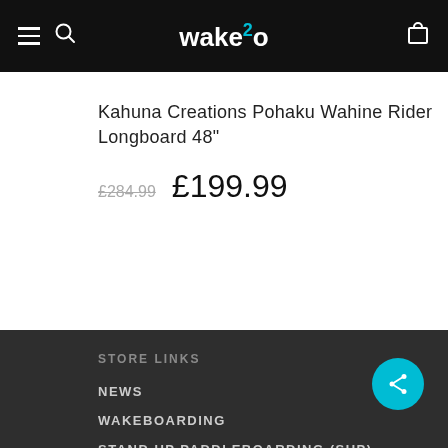wake2o navigation bar with hamburger menu, search icon, logo, and cart icon
Kahuna Creations Pohaku Wahine Rider Longboard 48"
£284.99  £199.99
STORE LINKS
NEWS
WAKEBOARDING
STAND UP PADDLEBOARDING (SUP)